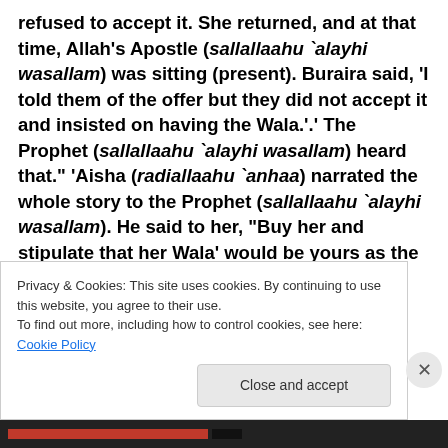refused to accept it. She returned, and at that time, Allah's Apostle (sallallaahu `alayhi wasallam) was sitting (present). Buraira said, 'I told them of the offer but they did not accept it and insisted on having the Wala.'.' The Prophet (sallallaahu `alayhi wasallam) heard that." 'Aisha (radiallaahu `anhaa) narrated the whole story to the Prophet (sallallaahu `alayhi wasallam). He said to her, "Buy her and stipulate that her Wala' would be yours as the Wala' is for the manumitted." 'Aisha (radiallaahu `anhaa) did so. Then Allah's Apostle (sallallaahu
Privacy & Cookies: This site uses cookies. By continuing to use this website, you agree to their use.
To find out more, including how to control cookies, see here: Cookie Policy